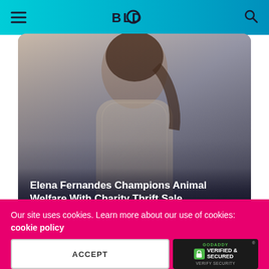BOLD
[Figure (photo): Woman wearing a white lace outfit, article card with overlay text. Title: Elena Fernandes Champions Animal Welfare With Charity Thrift Sale. Byline: BO CORRESPONDENT - 6 DAYS AGO]
Elena Fernandes Champions Animal Welfare With Charity Thrift Sale
BO CORRESPONDENT  - 6 DAYS AGO
Related News
Our site uses cookies. Learn more about our use of cookies: cookie policy
ACCEPT